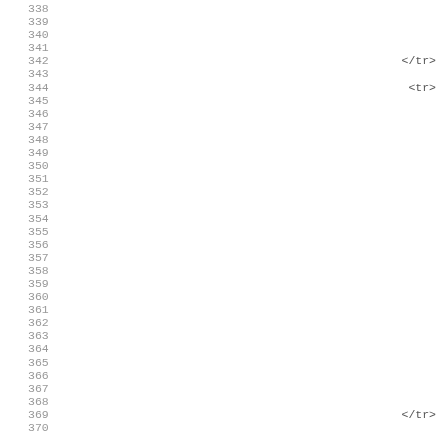Line numbers 338-370 of source code with HTML tokens </tr> on line 342, <tr> on line 344, </tr> on line 369